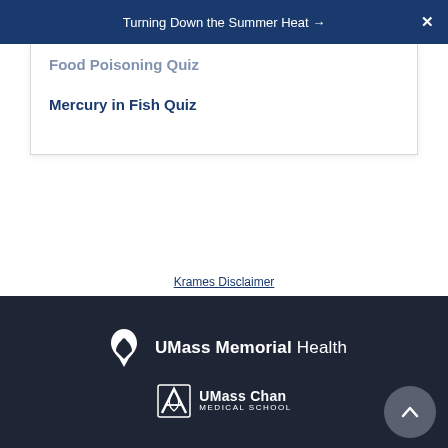Turning Down the Summer Heat →
Food Poisoning Quiz
Mercury in Fish Quiz
Krames Disclaimer
[Figure (logo): UMass Memorial Health logo with UMass Chan Medical School logo below, white on dark navy background]